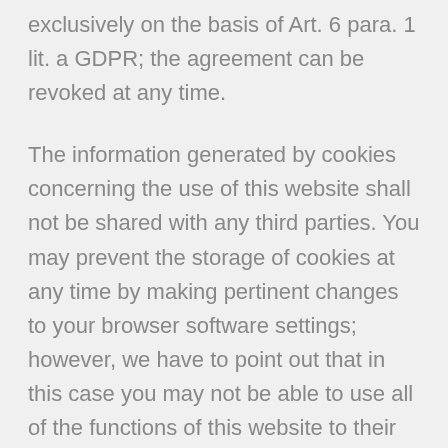exclusively on the basis of Art. 6 para. 1 lit. a GDPR; the agreement can be revoked at any time.
The information generated by cookies concerning the use of this website shall not be shared with any third parties. You may prevent the storage of cookies at any time by making pertinent changes to your browser software settings; however, we have to point out that in this case you may not be able to use all of the functions of this website to their fullest extent.
If you do not consent to the storage and use of your data, you have the option to